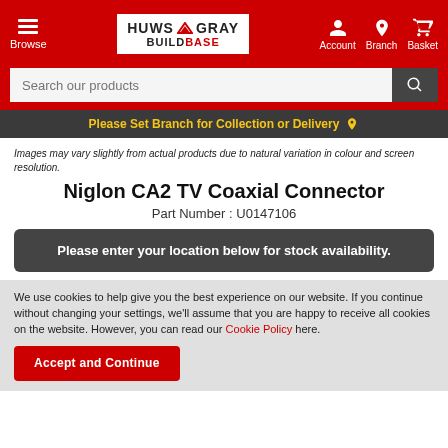Huws Gray Buildbase — Browse | Account | Branch | Basket
Search our products
Please Set Branch for Collection or Delivery
Images may vary slightly from actual products due to natural variation in colour and screen resolution.
Niglon CA2 TV Coaxial Connector
Part Number : U0147106
Please enter your location below for stock availability.
We use cookies to help give you the best experience on our website. If you continue without changing your settings, we'll assume that you are happy to receive all cookies on the website. However, you can read our Cookie Policy here.
Accept and Continue